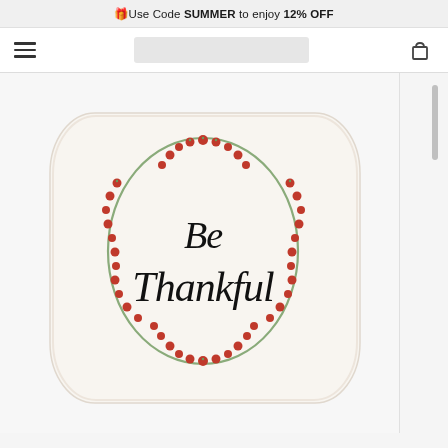🎁Use Code SUMMER to enjoy 12% OFF
[Figure (screenshot): E-commerce website navigation bar with hamburger menu icon, search box, and cart icon]
[Figure (photo): White decorative throw pillow with a red berry wreath surrounding the cursive text 'Be Thankful']